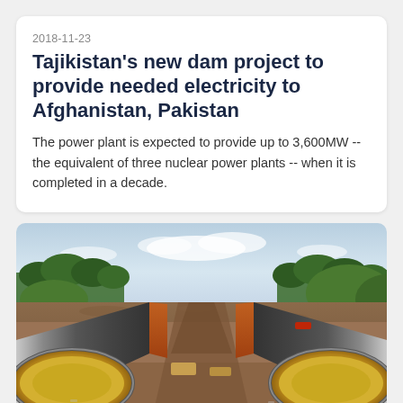2018-11-23
Tajikistan's new dam project to provide needed electricity to Afghanistan, Pakistan
The power plant is expected to provide up to 3,600MW -- the equivalent of three nuclear power plants -- when it is completed in a decade.
[Figure (photo): Two large industrial pipelines lying parallel on bare earth, with grassy mounds and trees visible in the background under a partly cloudy sky.]